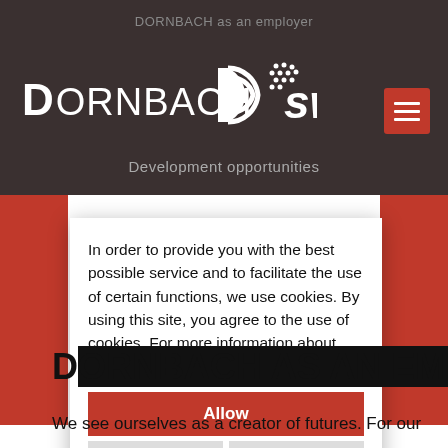DORNBACH as an employer
[Figure (logo): DORNBACH logo with D arrow symbol and SW stars logo]
Development opportunities
In order to provide you with the best possible service and to facilitate the use of certain functions, we use cookies. By using this site, you agree to the use of cookies. For more information about which data is stored, click here.
Allow
Customize cookies
Decline
D...
We see ourselves as a creator of futures. For our